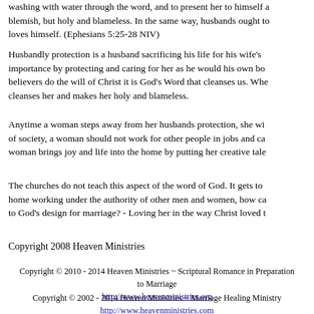Husbands, love your wives, just as Christ loved the Church and gave washing with water through the word, and to present her to himself a blemish, but holy and blameless. In the same way, husbands ought to loves himself. (Ephesians 5:25-28 NIV)
Husbandly protection is a husband sacrificing his life for his wife's importance by protecting and caring for her as he would his own bo believers do the will of Christ it is God’s Word that cleanses us. Whe cleanses her and makes her holy and blameless.
Anytime a woman steps away from her husbands protection, she wi of society, a woman should not work for other people in jobs and ca woman brings joy and life into the home by putting her creative tale
The churches do not teach this aspect of the word of God. It gets to home working under the authority of other men and women, how ca to God’s design for marriage? - Loving her in the way Christ loved t
Copyright 2008 Heaven Ministries
Copyright © 2010 - 2014 Heaven Ministries ~ Scriptural Romance in Preparation to Marriage
http://www.heavenministries.org
Copyright © 2002 - 2014 Heaven Ministries ~ Marriage Healing Ministry
http://www.heavenministries.com